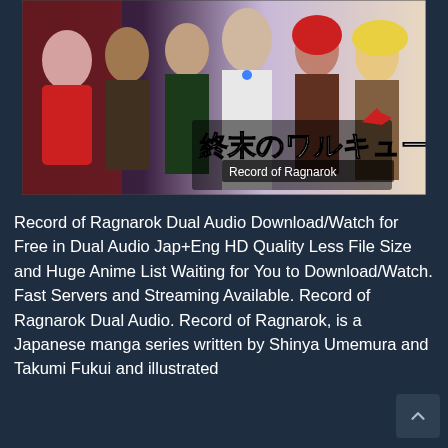[Figure (illustration): Anime manga cover art for 'Record of Ragnarok' (終末のワルキューレ) showing multiple anime characters — including muscular warriors and elegant figures — with the Japanese title and 'Record of Ragnarok' subtitle in stylized text.]
Record of Ragnarok Dual Audio Download/Watch for Free in Dual Audio Jap+Eng HD Quality Less File Size and Huge Anime List Waiting for You to Download/Watch. Fast Servers and Streaming Available. Record of Ragnarok Dual Audio. Record of Ragnarok, is a Japanese manga series written by Shinya Umemura and Takumi Fukui and illustrated